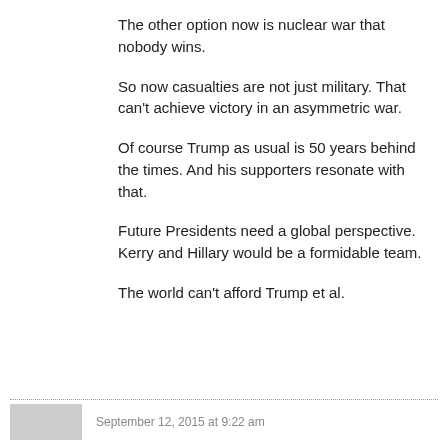The other option now is nuclear war that nobody wins.
So now casualties are not just military. That can’t achieve victory in an asymmetric war.
Of course Trump as usual is 50 years behind the times. And his supporters resonate with that.
Future Presidents need a global perspective. Kerry and Hillary would be a formidable team.
The world can’t afford Trump et al.
September 12, 2015 at 9:22 am